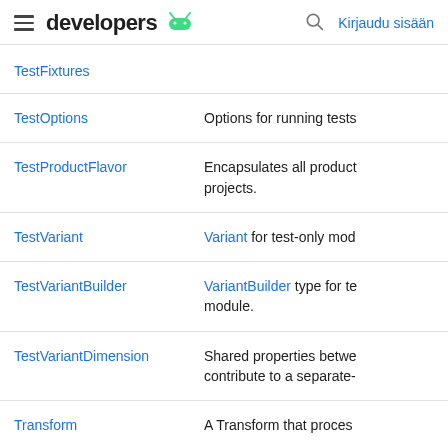developers (Android logo) | Kirjaudu sisään
| Name | Description |
| --- | --- |
| TestFixtures |  |
| TestOptions | Options for running tests |
| TestProductFlavor | Encapsulates all product projects. |
| TestVariant | Variant for test-only mod |
| TestVariantBuilder | VariantBuilder type for te module. |
| TestVariantDimension | Shared properties betwe contribute to a separate- |
| Transform | A Transform that proces |